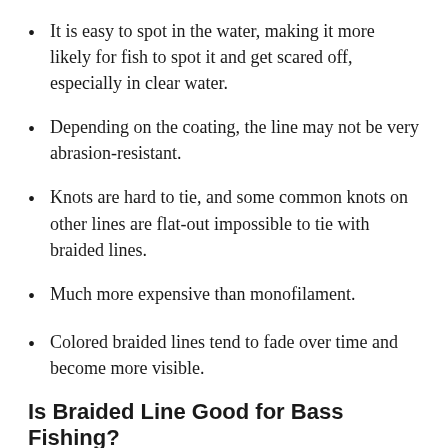It is easy to spot in the water, making it more likely for fish to spot it and get scared off, especially in clear water.
Depending on the coating, the line may not be very abrasion-resistant.
Knots are hard to tie, and some common knots on other lines are flat-out impossible to tie with braided lines.
Much more expensive than monofilament.
Colored braided lines tend to fade over time and become more visible.
Is Braided Line Good for Bass Fishing?
Braided lines can be great for bass fishing, especially in areas with lots of weeds or vegetation. It can help you pull a fish out of weed before it can get itself